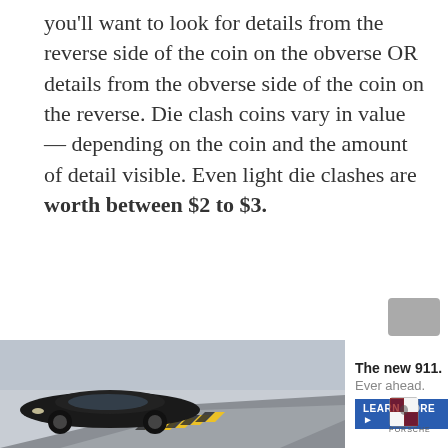you'll want to look for details from the reverse side of the coin on the obverse OR details from the obverse side of the coin on the reverse. Die clash coins vary in value — depending on the coin and the amount of detail visible. Even light die clashes are worth between $2 to $3.
[Figure (photo): Advertisement banner: Porsche 911 car driving on a road with chevron markings, with text 'The new 911. Ever ahead.' and a LEARN MORE button, and Porsche crest logo]